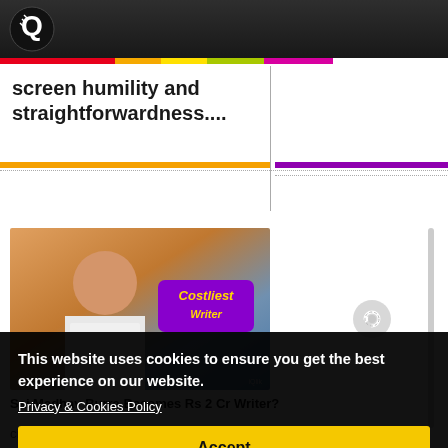iQlik Movies website header with logo
screen humility and straightforwardness....
[Figure (screenshot): Thumbnail image for article about Sai Madhav Burra, showing a man smiling in white shirt with 'Costliest Writer' banner in purple with gold text]
Sai Madhav Burra Becomes Rs 2 Cr Writer?
By iQlik Movies - 05 April 2016 10:51:23
Speaking of
This website uses cookies to ensure you get the best experience on our website. Privacy & Cookies Policy
Accept
circuit generally tend to